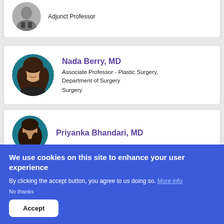[Figure (photo): Partial view of a doctor profile card at the top of the page, showing a profile photo and the text 'Adjunct Professor']
Adjunct Professor
[Figure (photo): Circular profile photo of Nada Berry, MD, a woman with long brown hair against a teal background]
Nada Berry, MD
Associate Professor - Plastic Surgery, Department of Surgery
Surgery
[Figure (photo): Partial circular profile photo of Priyanka Bhandari, MD]
Priyanka Bhandari, MD
We use cookies on this site to enhance your user experience
By clicking the accept button, you agree to us doing so. More info
No thanks
Accept